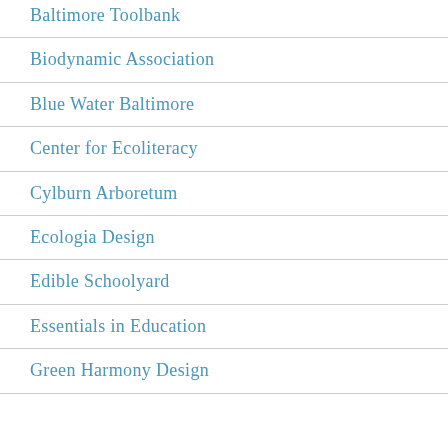Baltimore Toolbank
Biodynamic Association
Blue Water Baltimore
Center for Ecoliteracy
Cylburn Arboretum
Ecologia Design
Edible Schoolyard
Essentials in Education
Green Harmony Design